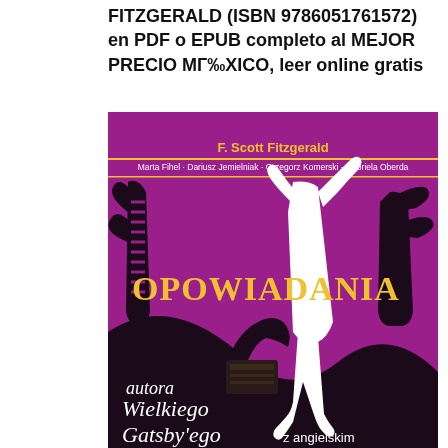FITZGERALD (ISBN 9786051761572) en PDF o EPUB completo al MEJOR PRECIO МГ‰ХICO, leer online gratis
[Figure (illustration): Book cover of 'Opowiadania' by F. Scott Fitzgerald. Purple/magenta background with art deco style silhouette illustration of a dancing woman in white and black art deco figures with outstretched hands, a gramophone/phonograph. Title 'OPOWIADANIA' in large yellow letters. Author name 'F. Scott Fitzgerald' in yellow at top, translators listed below. Text 'autora Wielkiego Gatsby'ego z angielskim' at bottom.]